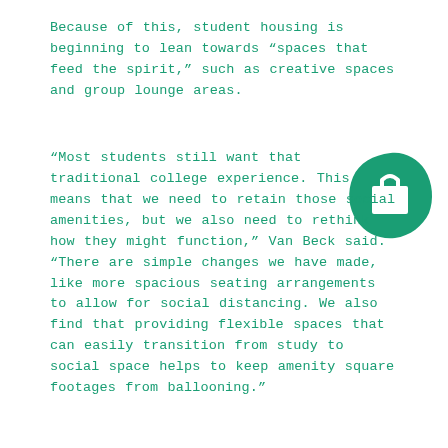Because of this, student housing is beginning to lean towards “spaces that feed the spirit,” such as creative spaces and group lounge areas.
[Figure (illustration): A teal/green rounded blob shape with a white shopping bag icon in the center]
“Most students still want that traditional college experience. This means that we need to retain those social amenities, but we also need to rethink how they might function,” Van Beck said. “There are simple changes we have made, like more spacious seating arrangements to allow for social distancing. We also find that providing flexible spaces that can easily transition from study to social space helps to keep amenity square footages from ballooning.”